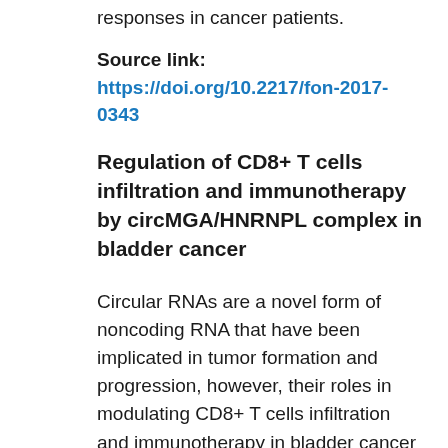responses in cancer patients.
Source link: https://doi.org/10.2217/fon-2017-0343
Regulation of CD8+ T cells infiltration and immunotherapy by circMGA/HNRNPL complex in bladder cancer
Circular RNAs are a novel form of noncoding RNA that have been implicated in tumor formation and progression, however, their roles in modulating CD8+ T cells infiltration and immunotherapy in bladder cancer have yet to be explored. We find circMGA as a tumor-suppressing circRNA, which results in CD8+ T cell chemoattraction and increasing the immunotherapy's sensitivity. Intriguingly, therapeutic synergy between circGMA and anti-